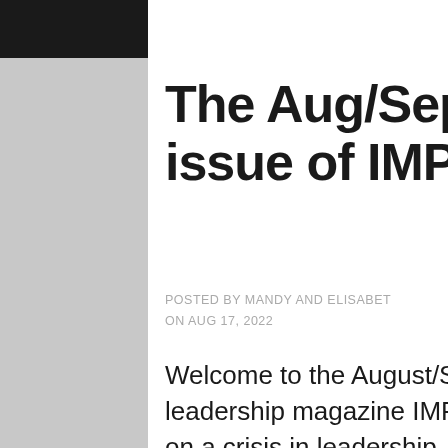The Aug/Sep issue of IMPACT
POSTED BY MANDY AND ELISABET ON AUG 17, 2022
Welcome to the August/September issue of our leadership magazine IMPACT. This time we focus on a crisis in leadership, team reputation, and 3 steps to mastering great relationships. Issue 19 You can read it here and download it here. And just in time for the release of Game of Throne